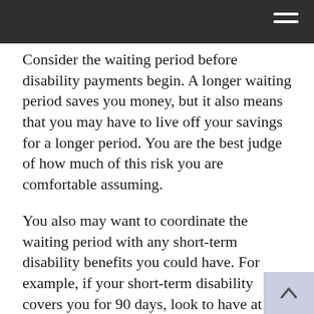Consider the waiting period before disability payments begin. A longer waiting period saves you money, but it also means that you may have to live off your savings for a longer period. You are the best judge of how much of this risk you are comfortable assuming.
You also may want to coordinate the waiting period with any short-term disability benefits you could have. For example, if your short-term disability covers you for 90 days, look to have at least a 90-day waiting period so that you can potentially lower the cost on the long-term policy.
Ask how a policy defines an inability to work. Some policies will say the "inability to do any job or task;"